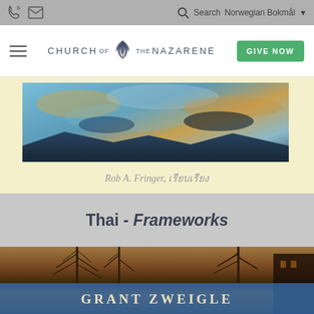Church of the Nazarene - Search - Norwegian Bokmål
[Figure (screenshot): Church of the Nazarene website header with hamburger menu, logo, and GIVE NOW button]
[Figure (photo): Abstract painting with blue and golden tones showing sky and landscape]
Rob A. Fringer, เรียบเรียง
Thai - Frameworks
[Figure (photo): Book cover for Frameworks by Grant Zweigle, showing bare winter trees against warm amber sky with author name in blue banner]